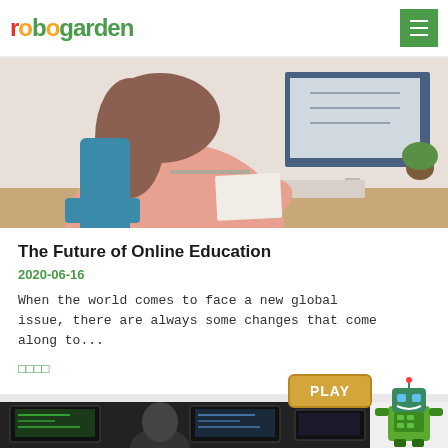robo garden
[Figure (photo): Woman in pink top working at a desk with a computer monitor, writing notes]
The Future of Online Education
2020-06-16
When the world comes to face a new global issue, there are always some changes that come along to...
阅读全文
[Figure (photo): Person sitting at desk with multiple dark monitors showing code]